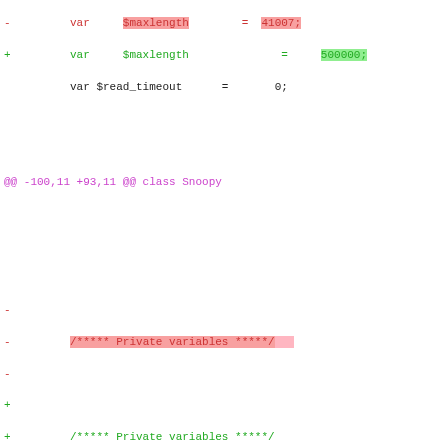diff --git code snippet showing changes to class Snoopy including $maxlength, $read_timeout, Private variables, $_maxlinelen, $_httpmethod, $_httpversion, $_submit_method, $_redirectdepth, $_frameurls, $_framedepth, $_isproxy, $_fp_timeout
@@ -100,11 +93,11 @@ class Snoopy
@@ -114,7 +107,7 @@ class Snoopy
@@ -129,7 +122,7 @@ class Snoopy